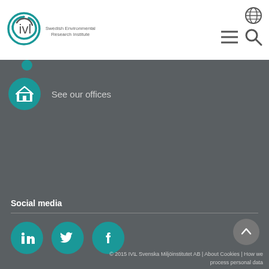[Figure (logo): IVL Swedish Environmental Research Institute logo with teal circular emblem and grey text]
[Figure (infographic): Teal circle with house/office icon and text 'See our offices']
Social media
[Figure (infographic): Three teal social media icons: LinkedIn, Twitter, Facebook]
© 2015 IVL Svenska Miljöinstitutet AB | About Cookies | How we process personal data